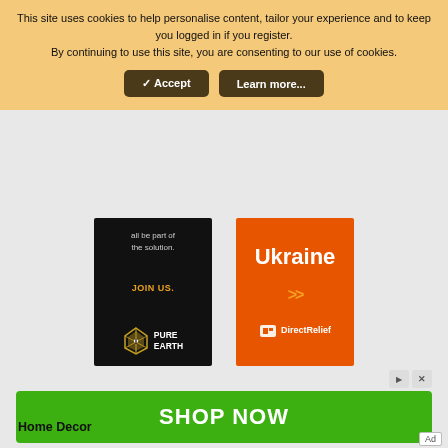This site uses cookies to help personalise content, tailor your experience and to keep you logged in if you register. By continuing to use this site, you are consenting to our use of cookies.
✓ Accept
Learn more...
[Figure (illustration): Pure Earth charity advertisement - black background with white text 'all be part of the solution.' and orange 'JOIN US.' text, with Pure Earth diamond logo]
[Figure (illustration): Direct Relief charity advertisement - orange background with 'Ukraine' in large white text, orange double chevrons, and Direct Relief white logo]
[Figure (illustration): Green 'SHOP NOW' advertisement banner with ad controls]
Home Decor
Ad